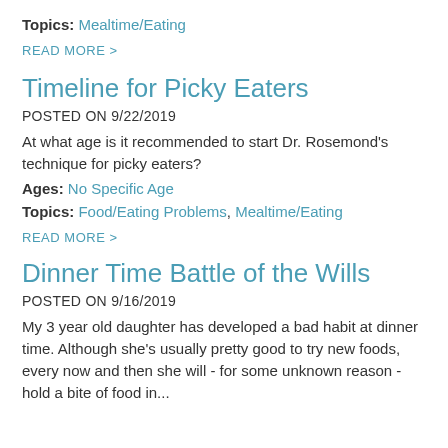Topics: Mealtime/Eating
READ MORE >
Timeline for Picky Eaters
POSTED ON 9/22/2019
At what age is it recommended to start Dr. Rosemond's technique for picky eaters?
Ages: No Specific Age
Topics: Food/Eating Problems, Mealtime/Eating
READ MORE >
Dinner Time Battle of the Wills
POSTED ON 9/16/2019
My 3 year old daughter has developed a bad habit at dinner time. Although she's usually pretty good to try new foods, every now and then she will - for some unknown reason - hold a bite of food in...